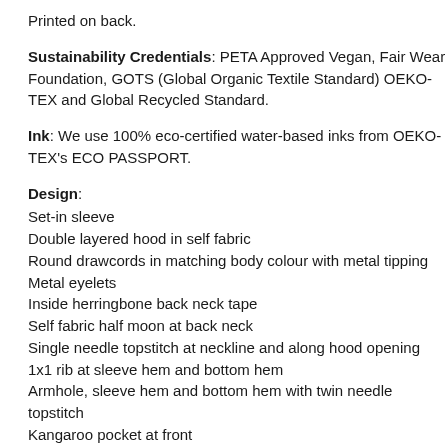Printed on back.
Sustainability Credentials: PETA Approved Vegan, Fair Wear Foundation, GOTS (Global Organic Textile Standard) OEKO-TEX and Global Recycled Standard.
Ink: We use 100% eco-certified water-based inks from OEKO-TEX's ECO PASSPORT.
Design:
Set-in sleeve
Double layered hood in self fabric
Round drawcords in matching body colour with metal tipping
Metal eyelets
Inside herringbone back neck tape
Self fabric half moon at back neck
Single needle topstitch at neckline and along hood opening
1x1 rib at sleeve hem and bottom hem
Armhole, sleeve hem and bottom hem with twin needle topstitch
Kangaroo pocket at front